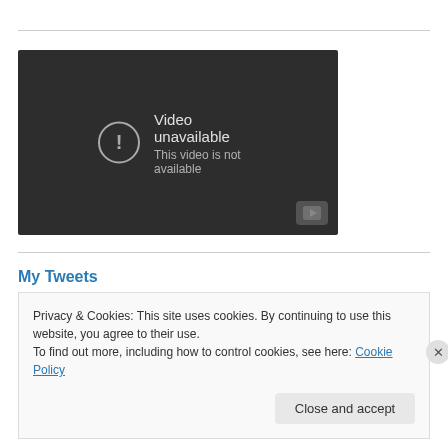[Figure (screenshot): YouTube embedded video player showing 'Video unavailable — This video is not available' error message on dark background with YouTube play button icon in lower right]
My Tweets
Privacy & Cookies: This site uses cookies. By continuing to use this website, you agree to their use.
To find out more, including how to control cookies, see here: Cookie Policy
Close and accept